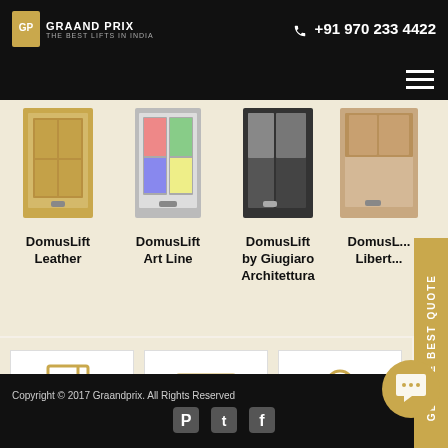GRAAND PRIX | +91 970 233 4422
[Figure (screenshot): DomusLift Leather product image]
DomusLift Leather
[Figure (screenshot): DomusLift Art Line product image]
DomusLift Art Line
[Figure (screenshot): DomusLift by Giugiaro Architettura product image]
DomusLift by Giugiaro Architettura
[Figure (screenshot): DomusLift Liberty product image]
DomusLift Liberty
GET THE BEST QUOTE
[Figure (illustration): PDF/brochure icon in gold]
View Brochure
[Figure (illustration): Gallery/image icon in gold]
View Gallery
[Figure (illustration): Contact/person icon in gold]
Contact Now
Copyright © 2017 Graandprix. All Rights Reserved | Crafted by W